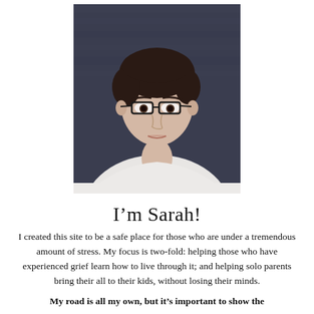[Figure (photo): Portrait photo of a woman with short dark hair, glasses, wearing a white top, against a dark blue-grey background]
I'm Sarah!
I created this site to be a safe place for those who are under a tremendous amount of stress. My focus is two-fold: helping those who have experienced grief learn how to live through it; and helping solo parents bring their all to their kids, without losing their minds.
My road is all my own, but its important to show the...